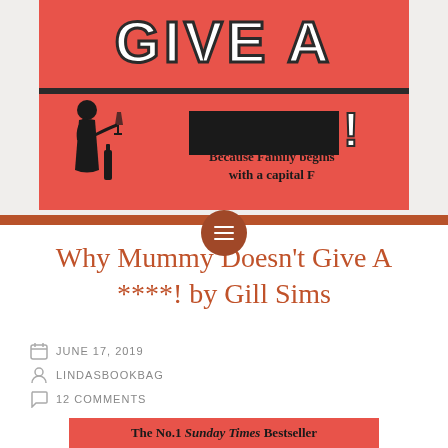[Figure (illustration): Book cover for 'Why Mummy Doesn't Give A ****!' by Gill Sims. Salmon/coral red background with large white bold text reading 'GIVE A' with a small cat/animal illustration, a black censored bar with exclamation mark, a silhouette of a woman with a wine glass, a bottle. Text reads 'Because Family begins with a capital F'. The cover is partially cropped at the top.]
Why Mummy Doesn't Give A ****! by Gill Sims
JUNE 17, 2019
LINDASBOOKBAG
12 COMMENTS
The No.1 Sunday Times Bestseller